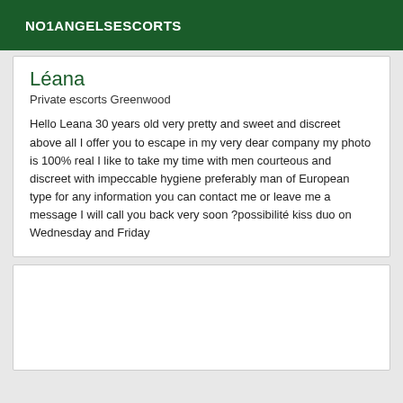NO1ANGELSESCORTS
Léana
Private escorts Greenwood
Hello Leana 30 years old very pretty and sweet and discreet above all I offer you to escape in my very dear company my photo is 100% real I like to take my time with men courteous and discreet with impeccable hygiene preferably man of European type for any information you can contact me or leave me a message I will call you back very soon ?possibilité kiss duo on Wednesday and Friday